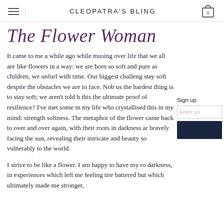CLEOPATRA'S BLING
The Flower Woman
It came to me a while ago while musing over life that we all are like flowers in a way: we are born so soft and pure as children, we unfurl with time. Our biggest challenge is to stay soft despite the obstacles we are to face. Nobody tells us the hardest thing is to stay soft; we aren't told how — is this the ultimate proof of resilience? I've met some people in my life who crystallised this in my mind: strength through softness. The metaphor of the flower came back to me over and over again, with their roots in darkness and yet bravely facing the sun, revealing their intricate and delicate beauty so vulnerably to the world.
I strive to be like a flower. I am happy to have my roots in darkness, in experiences which left me feeling tired and battered but which ultimately made me stronger,